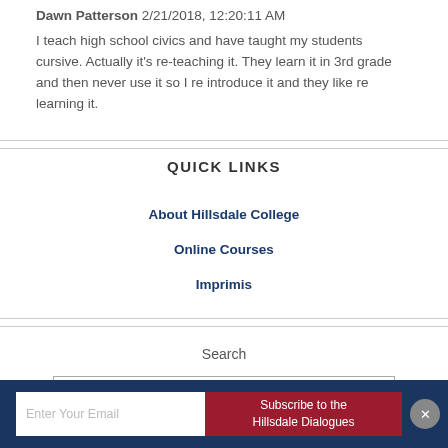Dawn Patterson 2/21/2018, 12:20:11 AM
I teach high school civics and have taught my students cursive. Actually it's re-teaching it. They learn it in 3rd grade and then never use it so I re introduce it and they like re learning it.
QUICK LINKS
About Hillsdale College
Online Courses
Imprimis
Search
Enter Your Email  |  Subscribe to the Hillsdale Dialogues